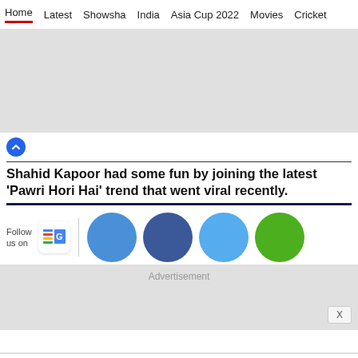Home | Latest | Showsha | India | Asia Cup 2022 | Movies | Cricket
[Figure (other): Gray advertisement placeholder banner]
[Figure (other): Blue circular scroll-up button]
Shahid Kapoor had some fun by joining the latest ‘Pawri Hori Hai’ trend that went viral recently.
[Figure (other): Follow us on social media row: Google News icon, Facebook circle, dark blue circle, Twitter circle, WhatsApp/green circle]
[Figure (other): Advertisement banner with X close button]
Movies | Photos | Live TV | Videos | Share